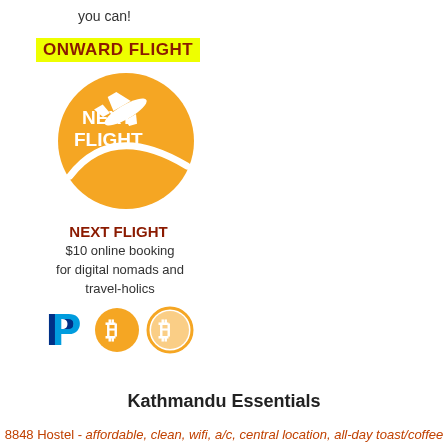you can!
ONWARD FLIGHT
[Figure (logo): Orange circle logo with white airplane silhouette and text NEXT FLIGHT]
NEXT FLIGHT
$10 online booking for digital nomads and travel-holics
[Figure (illustration): Payment icons: PayPal logo, two Bitcoin/orange circle currency icons]
Kathmandu Essentials
8848 Hostel - affordable, clean, wifi, a/c, central location, all-day toast/coffee